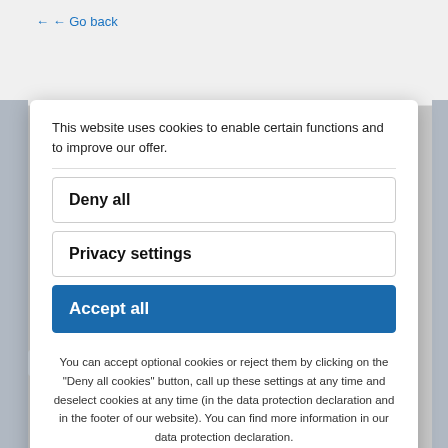← Go back
This website uses cookies to enable certain functions and to improve our offer.
Deny all
Privacy settings
Accept all
You can accept optional cookies or reject them by clicking on the "Deny all cookies" button, call up these settings at any time and deselect cookies at any time (in the data protection declaration and in the footer of our website). You can find more information in our data protection declaration.
Imprint · Privacy Policy